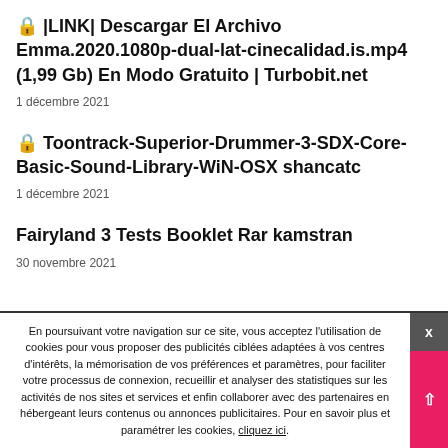🔒 |LINK| Descargar El Archivo Emma.2020.1080p-dual-lat-cinecalidad.is.mp4 (1,99 Gb) En Modo Gratuito | Turbobit.net
1 décembre 2021
🔒 Toontrack-Superior-Drummer-3-SDX-Core-Basic-Sound-Library-WiN-OSX shancatc
1 décembre 2021
Fairyland 3 Tests Booklet Rar kamstran
30 novembre 2021
En poursuivant votre navigation sur ce site, vous acceptez l'utilisation de cookies pour vous proposer des publicités ciblées adaptées à vos centres d'intérêts, la mémorisation de vos préférences et paramètres, pour faciliter votre processus de connexion, recueillir et analyser des statistiques sur les activités de nos sites et services et enfin collaborer avec des partenaires en hébergeant leurs contenus ou annonces publicitaires. Pour en savoir plus et paramétrer les cookies, cliquez ici.